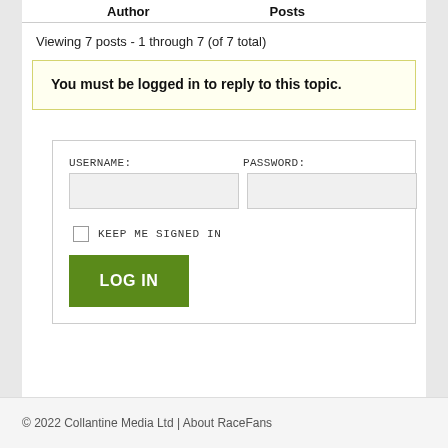| Author | Posts |
| --- | --- |
Viewing 7 posts - 1 through 7 (of 7 total)
You must be logged in to reply to this topic.
USERNAME:
PASSWORD:
KEEP ME SIGNED IN
LOG IN
© 2022 Collantine Media Ltd | About RaceFans